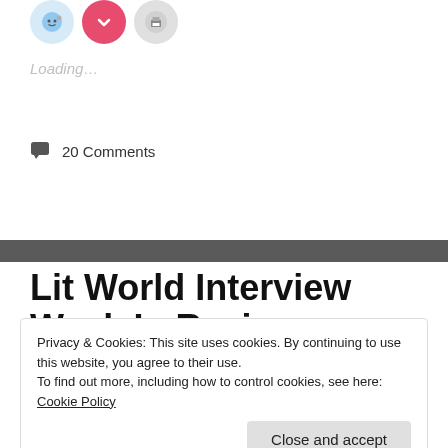[Figure (other): Social share buttons: Reddit (blue circle), Pocket (red circle with heart), Print (gray circle with printer icon)]
Loading...
20 Comments
Lit World Interview Week In Review
Privacy & Cookies: This site uses cookies. By continuing to use this website, you agree to their use.
To find out more, including how to control cookies, see here: Cookie Policy
Close and accept